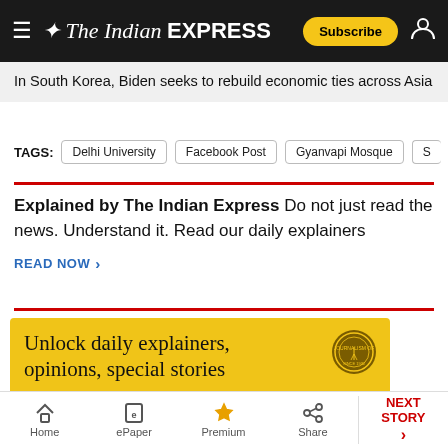The Indian Express — Subscribe
In South Korea, Biden seeks to rebuild economic ties across Asia
TAGS: Delhi University | Facebook Post | Gyanvapi Mosque | S...
Explained by The Indian Express Do not just read the news. Understand it. Read our daily explainers
READ NOW >
[Figure (infographic): Advertisement banner: Unlock daily explainers, opinions, special stories. With an Express Subscription at ₹2.50/day*. BUY NOW button. Gold background with Express seal logo.]
Home | ePaper | Premium | Share | NEXT STORY